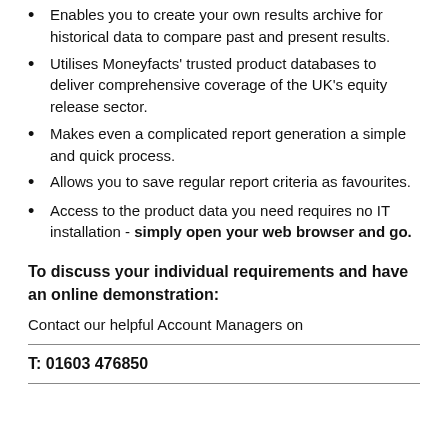Enables you to create your own results archive for historical data to compare past and present results.
Utilises Moneyfacts' trusted product databases to deliver comprehensive coverage of the UK's equity release sector.
Makes even a complicated report generation a simple and quick process.
Allows you to save regular report criteria as favourites.
Access to the product data you need requires no IT installation - simply open your web browser and go.
To discuss your individual requirements and have an online demonstration:
Contact our helpful Account Managers on
T: 01603 476850